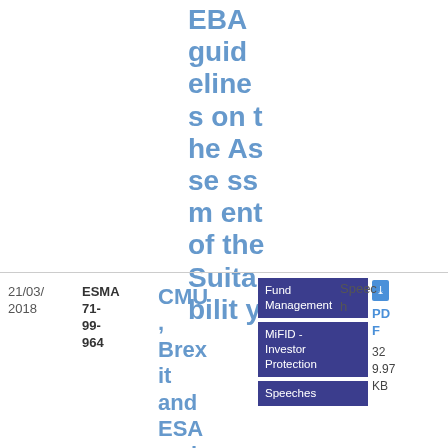EBA guidelines on the Assessment of the Suitability
21/03/2018
ESMA 71-99-964
CMU, Brexit and ESA review –
Fund Management
Speech
MiFID - Investor Protection
Speeches
PDF
329.97 KB